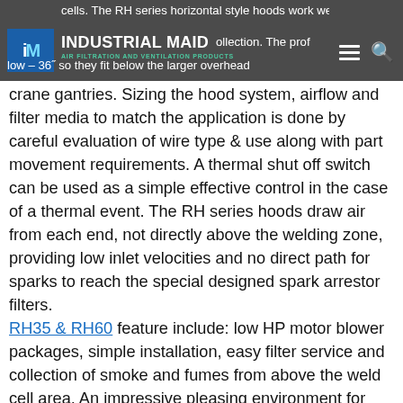cells. The RH series horizontal style hoods work well [logo: INDUSTRIAL MAID AIR FILTRATION AND VENTILATION PRODUCTS] [collection. The prof...] low – 36˝ so they fit below the larger overhead
crane gantries. Sizing the hood system, airflow and filter media to match the application is done by careful evaluation of wire type & use along with part movement requirements. A thermal shut off switch can be used as a simple effective control in the case of a thermal event. The RH series hoods draw air from each end, not directly above the welding zone, providing low inlet velocities and no direct path for sparks to reach the special designed spark arrestor filters.
RH35 & RH60 feature include: low HP motor blower packages, simple installation, easy filter service and collection of smoke and fumes from above the weld cell area. An impressive pleasing environment for visiting clients & potential customers.